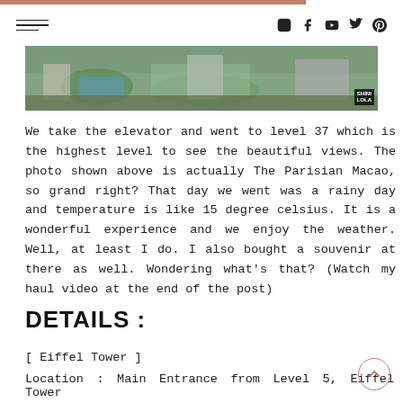Navigation header with hamburger menu and social icons (Instagram, Facebook, YouTube, Twitter, Pinterest)
[Figure (photo): Aerial view of The Parisian Macao resort with gardens and structures visible from above, with SHINI LOLA watermark badge]
We take the elevator and went to level 37 which is the highest level to see the beautiful views. The photo shown above is actually The Parisian Macao, so grand right? That day we went was a rainy day and temperature is like 15 degree celsius. It is a wonderful experience and we enjoy the weather. Well, at least I do. I also bought a souvenir at there as well. Wondering what's that? (Watch my haul video at the end of the post)
DETAILS :
[ Eiffel Tower ]
Location : Main Entrance from Level 5, Eiffel Tower